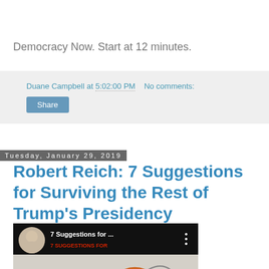Democracy Now. Start at 12 minutes.
Duane Campbell at 5:02:00 PM   No comments:
Share
Tuesday, January 29, 2019
Robert Reich: 7 Suggestions for Surviving the Rest of Trump's Presidency
[Figure (screenshot): Video thumbnail showing '7 Suggestions for ...' with a man's avatar and animated bird sketch on grey background]